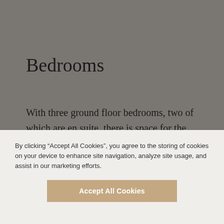Bedrooms
With three ground floor bedrooms, two of which are en suite, there is space for the whole family, or for a group of friends, looking for a getaway together. The master en suite bedroom benefits from a super king-sized bed, which can be split into
By clicking “Accept All Cookies”, you agree to the storing of cookies on your device to enhance site navigation, analyze site usage, and assist in our marketing efforts.
Accept All Cookies